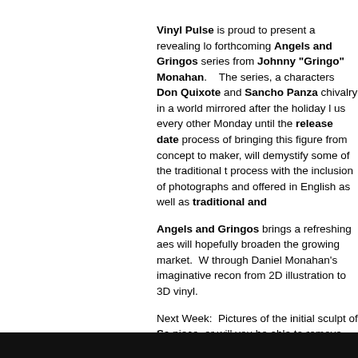Vinyl Pulse is proud to present a revealing look at the forthcoming Angels and Gringos series from Johnny "Gringo" Monahan.    The series, a characters Don Quixote and Sancho Panza chivalry in a world mirrored after the holiday l us every other Monday until the release date process of bringing this figure from concept to maker, will demystify some of the traditional t process with the inclusion of photographs and offered in English as well as traditional and
Angels and Gringos brings a refreshing aes will hopefully broaden the growing market.  W through Daniel Monahan's imaginative recon from 2D illustration to 3D vinyl.
Next Week:  Pictures of the initial sculpt of Sa piece, or will you be able to remove Sancho f out!
Posted by Jack @ 12:52 PM in Angels and Gringos | P